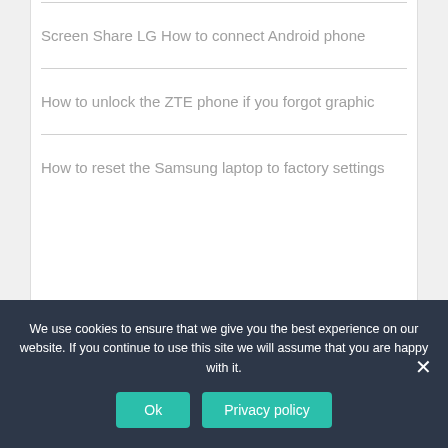Screen Share LG How to connect Android phone
How to unlock the ZTE phone if you forgot graphic
How to reset the Samsung laptop to factory settings
We use cookies to ensure that we give you the best experience on our website. If you continue to use this site we will assume that you are happy with it.